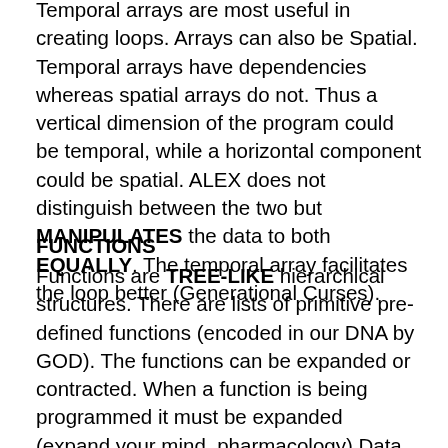Temporal arrays are most useful in creating loops. Arrays can also be Spatial. Temporal arrays have dependencies whereas spatial arrays do not. Thus a vertical dimension of the program could be temporal, while a horizontal component could be spatial. ALEX does not distinguish between the two but MANIPULATES the data to both EQUALLY. The temporal array facilitates the loop better (Generational Curses).
FUNCTIONS
Functions are TREE-LIKE hierarchical structures. There are lists of primitive pre-defined functions (encoded in our DNA by GOD). The functions can be expanded or contracted. When a function is being programmed it must be expanded (expand your mind, pharmacology) Data dependencies are then established between the subject and the new data to be imputed. The data with the new